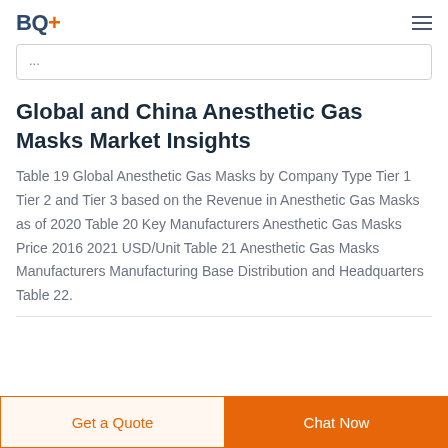BQ+
Global and China Anesthetic Gas Masks Market Insights
Table 19 Global Anesthetic Gas Masks by Company Type Tier 1 Tier 2 and Tier 3 based on the Revenue in Anesthetic Gas Masks as of 2020 Table 20 Key Manufacturers Anesthetic Gas Masks Price 2016 2021 USD/Unit Table 21 Anesthetic Gas Masks Manufacturers Manufacturing Base Distribution and Headquarters Table 22.